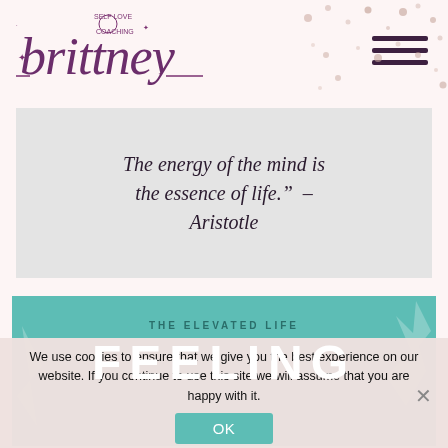[Figure (logo): Brittney self love coaching cursive script logo with moon and stars]
[Figure (illustration): Hamburger menu icon with three horizontal lines]
[Figure (illustration): Decorative scattered dots/pearls in beige/rose gold on background]
The energy of the mind is the essence of life." – Aristotle
THE ELEVATED LIFE
FEELING
We use cookies to ensure that we give you the best experience on our website. If you continue to use this site we will assume that you are happy with it.
OK